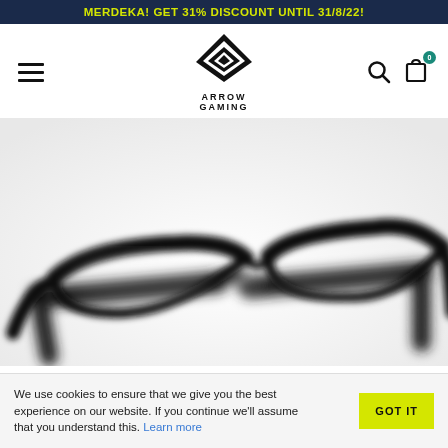MERDEKA! GET 31% DISCOUNT UNTIL 31/8/22!
[Figure (logo): Arrow Gaming logo: black arrow/diamond shape with text ARROW GAMING below]
[Figure (photo): Close-up blurred photo of black-framed browline/clubmaster style eyeglasses on white background]
We use cookies to ensure that we give you the best experience on our website. If you continue we'll assume that you understand this. Learn more